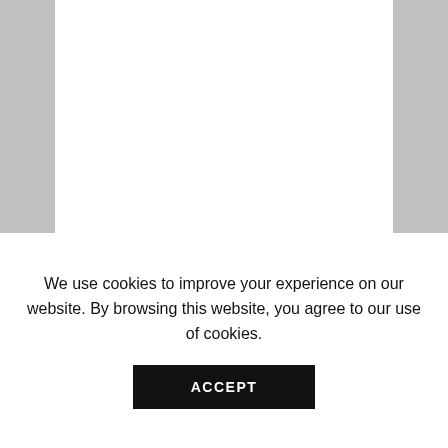ELECTRIC WIZARD – Black Masses
SKU: BTS0096
ELECTRIC WIZARD
classic t-shirt
20,00 € 18,00 €
We use cookies to improve your experience on our website. By browsing this website, you agree to our use of cookies.
ACCEPT